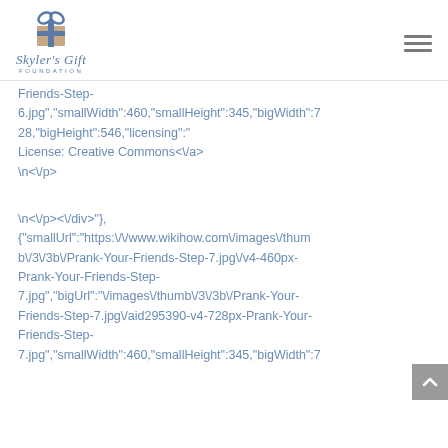Skyler's Gift Foundation
Friends-Step-6.jpg","smallWidth":460,"smallHeight":345,"bigWidth":728,"bigHeight":546,"licensing":"License: Creative Commons<\/a>
<\/p>
\n<\/p><\/div>"},{"smallUrl":"https:\/\/www.wikihow.com\/images\/thumb\/3\/3b\/Prank-Your-Friends-Step-7.jpg\/v4-460px-Prank-Your-Friends-Step-7.jpg","bigUrl":"\/images\/thumb\/3\/3b\/Prank-Your-Friends-Step-7.jpg\/aid295390-v4-728px-Prank-Your-Friends-Step-7.jpg","smallWidth":460,"smallHeight":345,"bigWidth":7